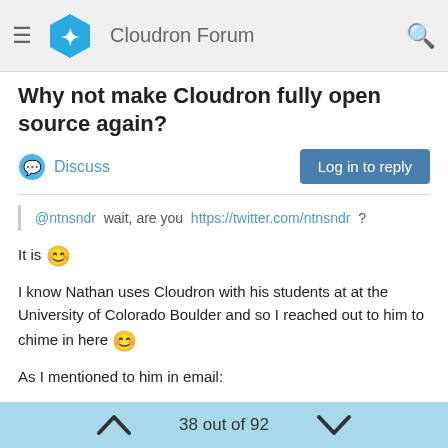Cloudron Forum
Why not make Cloudron fully open source again?
Discuss | Log in to reply
@ntnsndr wait, are you https://twitter.com/ntnsndr ?
It is 🙂
I know Nathan uses Cloudron with his students at at the University of Colorado Boulder and so I reached out to him to chime in here 🙂
As I mentioned to him in email:
re protecting against corporate exploitation, given it is "specifically designed to ensure cooperation with the community in the case of network server software" my understanding is that the AGPL provides at least some protection against that as per
38 out of 92